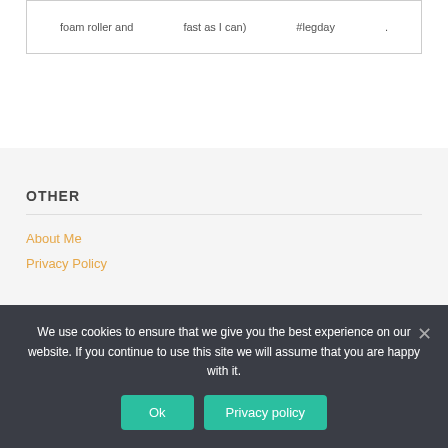foam roller and    fast as I can)    #legday    .
OTHER
About Me
Privacy Policy
We use cookies to ensure that we give you the best experience on our website. If you continue to use this site we will assume that you are happy with it.
Ok
Privacy policy